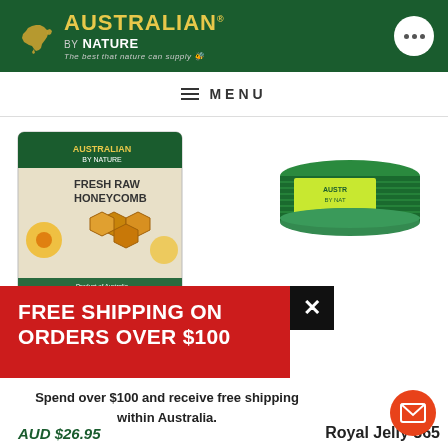[Figure (logo): Australian By Nature logo with Australia map silhouette in gold and green header background]
MENU
[Figure (photo): Fresh Raw Honeycomb product box with hexagonal honeycomb images]
[Figure (photo): Royal Jelly 365 product tin with green and gold labeling]
[Figure (infographic): Red popup banner: FREE SHIPPING ON ORDERS OVER $100]
FREE SHIPPING ON ORDERS OVER $100
Spend over $100 and receive free shipping within Australia.
AUD $26.95
Royal Jelly 365